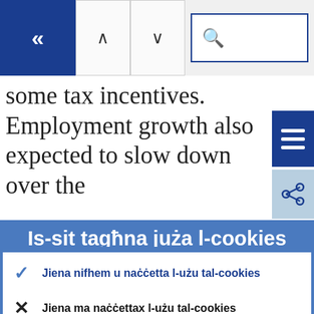[Figure (screenshot): Website navigation bar with back button (dark blue), up/down arrow buttons, and search field with magnifying glass icon]
some tax incentives. Employment growth also expected to slow down over the
Is-sit tagħna juża l-cookies
Dejjem naħdmu sabiex intejbu dan il-websajt għall-utenti tagħna. Biex nagħmlu dan, nużaw id-dejta anonima pprovduta mill-cookies.
› Tgħallem iktar dwar kif nużaw il-cookies
Jiena nifhem u naċċetta l-użu tal-cookies
Jiena ma naċċettax l-użu tal-cookies